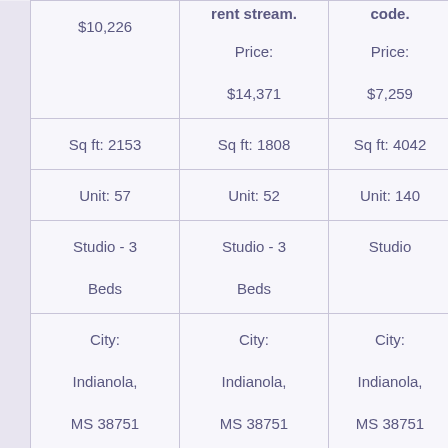|  | Col1 | rent stream. | code. |
| --- | --- | --- | --- |
|  | $10,226 | Price:
$14,371 | Price:
$7,259 |
|  | Sq ft: 2153 | Sq ft: 1808 | Sq ft: 4042 |
|  | Unit: 57 | Unit: 52 | Unit: 140 |
|  | Studio - 3 Beds | Studio - 3 Beds | Studio |
|  | City: | City: | City: |
|  | Indianola, | Indianola, | Indianola, |
|  | MS 38751 | MS 38751 | MS 38751 |
|  | Phone: |  | Phone: |
|  | (662) 300- |  |  |